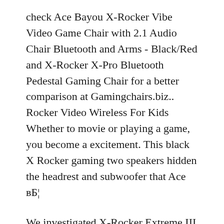check Ace Bayou X-Rocker Vibe Video Game Chair with 2.1 Audio Chair Bluetooth and Arms - Black/Red and X-Rocker X-Pro Bluetooth Pedestal Gaming Chair for a better comparison at Gamingchairs.biz.. Rocker Video Wireless For Kids Whether to movie or playing a game, you become a excitement. This black X Rocker gaming two speakers hidden the headrest and subwoofer that Ace вБ¦
We investigated X-Rocker Extreme III 2.0 Rocker Chair x Rocker 5109201 Extreme III 2.0 Gaming Rocker Chair with Audio System, black/Grey deals, reviews, and coupons over the previous 2 years for you at gaming-chairs. X RockerB® is the original, state-of-the-art sound gaming chair